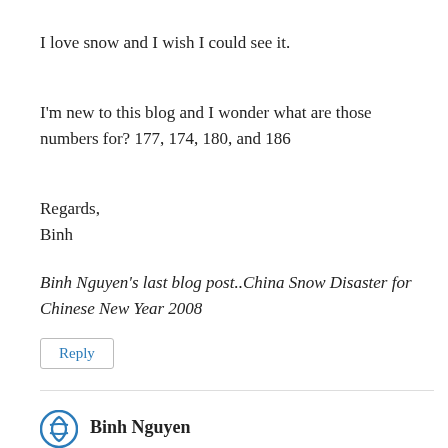I love snow and I wish I could see it.
I'm new to this blog and I wonder what are those numbers for? 177, 174, 180, and 186
Regards,
Binh
Binh Nguyen's last blog post..China Snow Disaster for Chinese New Year 2008
Reply
Binh Nguyen